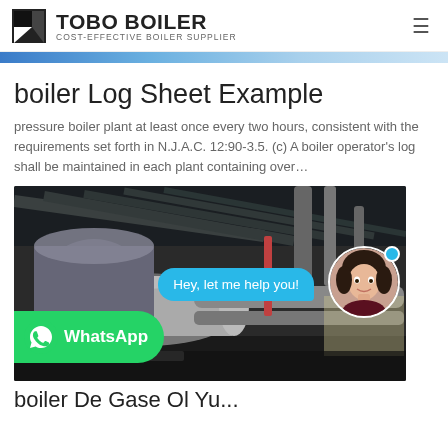TOBO BOILER — COST-EFFECTIVE BOILER SUPPLIER
[Figure (photo): Partial blue banner/strip image at top of content area]
boiler Log Sheet Example
pressure boiler plant at least once every two hours, consistent with the requirements set forth in N.J.A.C. 12:90-3.5. (c) A boiler operator's log shall be maintained in each plant containing over…
[Figure (photo): Industrial boiler room interior with large cylindrical boilers, pipes and ductwork. Overlay elements: green WhatsApp button at bottom left, cyan chat bubble saying 'Hey, let me help you!', and a circular avatar of a woman at right.]
boiler De Gase Ol Yu...